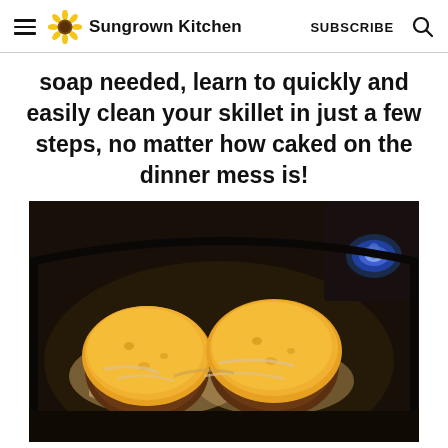Sungrown Kitchen  SUBSCRIBE
soap needed, learn to quickly and easily clean your skillet in just a few steps, no matter how caked on the dinner mess is!
[Figure (photo): Cheeseburger patties covered in melted yellow cheddar cheese with caramelized onions in a cast iron skillet on a stove.]